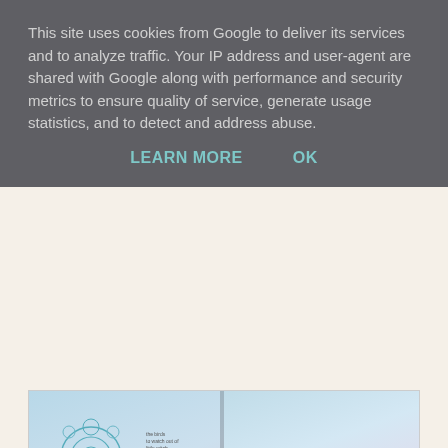This site uses cookies from Google to deliver its services and to analyze traffic. Your IP address and user-agent are shared with Google along with performance and security metrics to ensure quality of service, generate usage statistics, and to detect and address abuse.
LEARN MORE   OK
[Figure (photo): Open art journal spread showing soft pastel colours with teal/blue floral stamp designs on the left page and a bird's nest illustration on the right page, placed on a grey surface.]
Usually I use either really bright colours or I go vintage. For this project I decided to use soft colours because I think it suits the stamps. Here's how I made it:
[Figure (photo): Partial view of a second art journal image showing a light blue/lavender background, beginning of a step-by-step tutorial.]